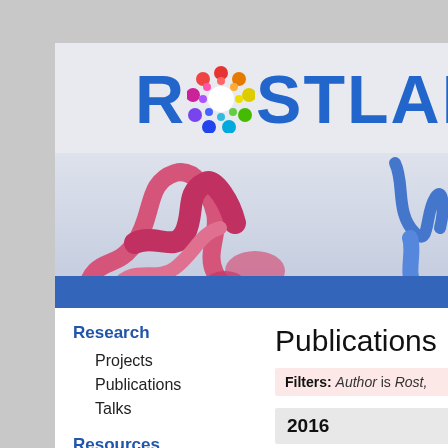[Figure (logo): ROSTLAB. logo with colorful circular icon replacing the letter O, in bold blue text]
[Figure (illustration): 3D protein ribbon structures in pink and blue on a light grey gradient background]
ROSTLAB.
Research
Projects
Publications
Talks
Resources
Services
Wiki
Publications
Filters: Author is Rost,
2016
Petrou VI, Herrera CM,